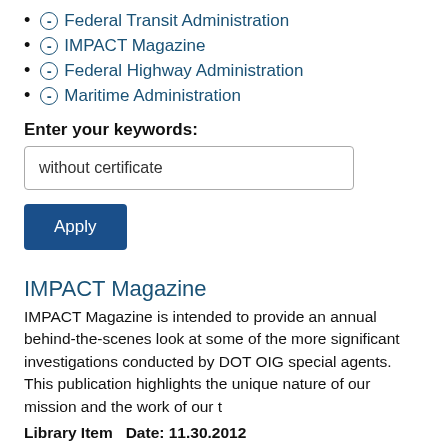(-) Federal Transit Administration
(-) IMPACT Magazine
(-) Federal Highway Administration
(-) Maritime Administration
Enter your keywords:
without certificate
Apply
IMPACT Magazine
IMPACT Magazine is intended to provide an annual behind-the-scenes look at some of the more significant investigations conducted by DOT OIG special agents. This publication highlights the unique nature of our mission and the work of our t
Library Item   Date: 11.30.2012